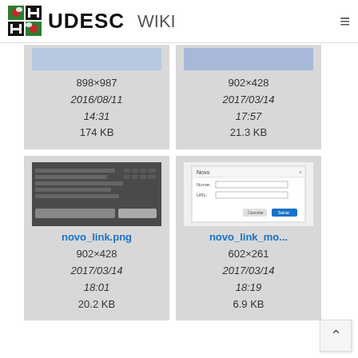UDESC WIKI
[Figure (screenshot): Partial file card top row - two cropped image thumbnails with metadata: 898×987, 2016/08/11 14:31, 174 KB and 902×428, 2017/03/14 17:57, 21.3 KB]
[Figure (screenshot): File card for novo_link.png - dark UI screenshot thumbnail, filename link, 902×428, 2017/03/14 18:01, 20.2 KB]
[Figure (screenshot): File card for novo_link_mo... - form dialog screenshot thumbnail, filename link, 602×261, 2017/03/14 18:19, 6.9 KB]